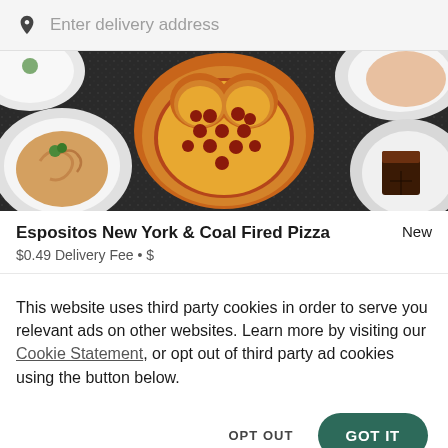Enter delivery address
[Figure (photo): Food photo showing heart-shaped pepperoni pizza in center, surrounded by white plates with pasta dishes and other food items on a dark speckled background]
Espositos New York & Coal Fired Pizza
New
$0.49 Delivery Fee • $
This website uses third party cookies in order to serve you relevant ads on other websites. Learn more by visiting our Cookie Statement, or opt out of third party ad cookies using the button below.
OPT OUT
GOT IT